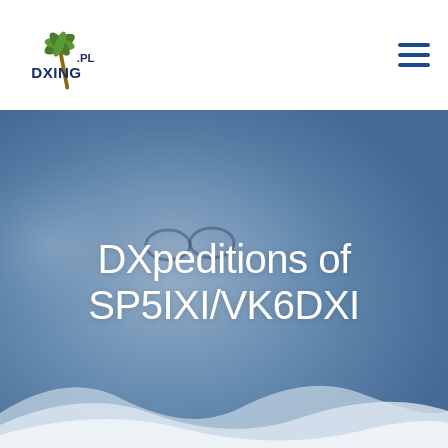[Figure (logo): DXING.pl logo with palm tree and stylized text]
[Figure (photo): Smiling woman with glasses and blonde hair in a blue-tinted office background, with two people visible behind her]
DXpeditions of SP5IXI/VK6DXI